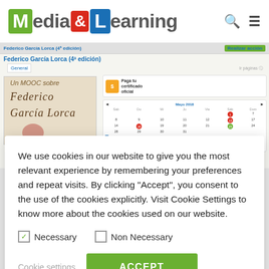Media&Learning
[Figure (screenshot): Screenshot of a MOOC course page about Federico García Lorca with a handwritten signature image, a calendar widget, and a certificate payment option in the sidebar.]
We use cookies in our website to give you the most relevant experience by remembering your preferences and repeat visits. By clicking "Accept", you consent to the use of the cookies explicitly. Visit Cookie Settings to know more about the cookies used on our website.
Necessary   Non Necessary
Cookie settings   ACCEPT
(CEPRUD) was created in September 2015. From the